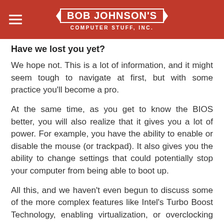BOB JOHNSON'S COMPUTER STUFF, INC.
Have we lost you yet?
We hope not. This is a lot of information, and it might seem tough to navigate at first, but with some practice you'll become a pro.
At the same time, as you get to know the BIOS better, you will also realize that it gives you a lot of power. For example, you have the ability to enable or disable the mouse (or trackpad). It also gives you the ability to change settings that could potentially stop your computer from being able to boot up.
All this, and we haven't even begun to discuss some of the more complex features like Intel's Turbo Boost Technology, enabling virtualization, or overclocking your CPU...